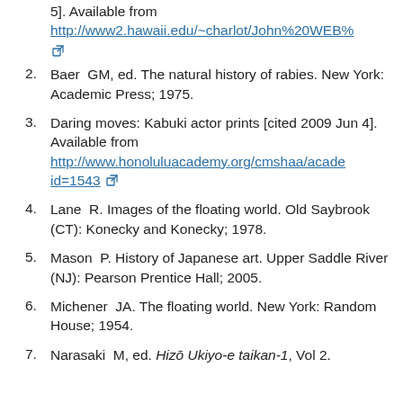5]. Available from http://www2.hawaii.edu/~charlot/John%20WEB% [external link]
2. Baer GM, ed. The natural history of rabies. New York: Academic Press; 1975.
3. Daring moves: Kabuki actor prints [cited 2009 Jun 4]. Available from http://www.honoluluacademy.org/cmshaa/acade id=1543 [external link]
4. Lane R. Images of the floating world. Old Saybrook (CT): Konecky and Konecky; 1978.
5. Mason P. History of Japanese art. Upper Saddle River (NJ): Pearson Prentice Hall; 2005.
6. Michener JA. The floating world. New York: Random House; 1954.
7. Narasaki M, ed. Hizō Ukiyo-e taikan-1, Vol 2.